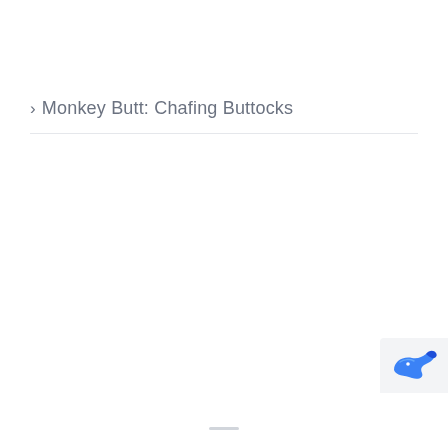> Monkey Butt: Chafing Buttocks
[Figure (logo): Blue dolphin/animal logo icon in bottom-right corner popup]